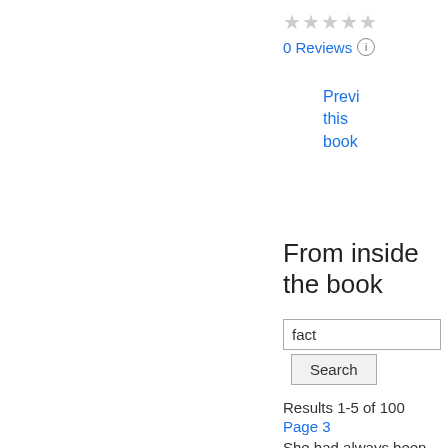[Figure (other): Star rating: 0 out of 5 stars (all stars grey/empty)]
0 Reviews
Preview this book
From inside the book
fact
Search
Results 1-5 of 100
Page 3
She had always been meekly agreed . to theatres , or at anyrate could “ I’ve been trying to come talk about them , about people , and see you ; but it’s such a